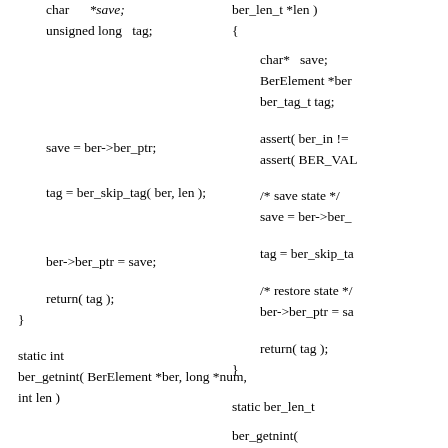char      *save;
unsigned long   tag;

save = ber->ber_ptr;

tag = ber_skip_tag( ber, len );

ber->ber_ptr = save;

return( tag );
}

static int
ber_getnint( BerElement *ber, long *num,
int len )
ber_len_t *len )
{

char*   save;
BerElement *ber
ber_tag_t tag;

assert( ber_in !=
assert( BER_VAL

/* save state */
save = ber->ber_

tag = ber_skip_ta

/* restore state */
ber->ber_ptr = sa

return( tag );
}

static ber_len_t

ber_getnint(

      BerElement *ber
      ber int t *num,